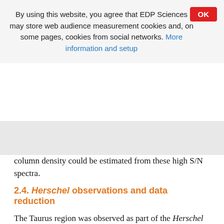By using this website, you agree that EDP Sciences may store web audience measurement cookies and, on some pages, cookies from social networks. More information and setup
OK
column density could be estimated from these high S/N spectra.
2.4. Herschel observations and data reduction
The Taurus region was observed as part of the Herschel Gould Belt Survey (André et al. 2010; Kirk et al. 2013). The SPIRE instrument (Spectral and Photometric Imaging Receiver) used three arrays of bolometers to